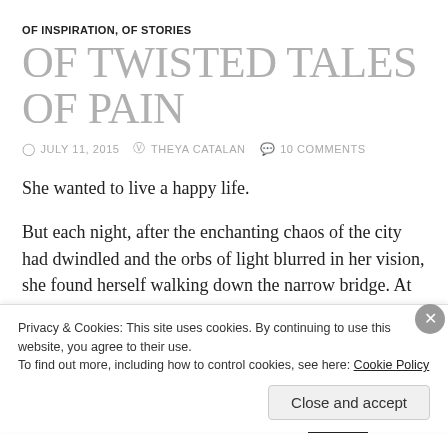OF INSPIRATION, OF STORIES
OF TWISTED TALES OF PAIN
JULY 11, 2015   THEYA CATALAN   10 COMMENTS
She wanted to live a happy life.
But each night, after the enchanting chaos of the city had dwindled and the orbs of light blurred in her vision, she found herself walking down the narrow bridge. At times, she'd stop abruptly and lean over the wooden rails to see her reflection in the dark waters. The planks under her feet would creak slowly under her weight as she'd gaze deep into the fading reflection
Privacy & Cookies: This site uses cookies. By continuing to use this website, you agree to their use.
To find out more, including how to control cookies, see here: Cookie Policy
Close and accept